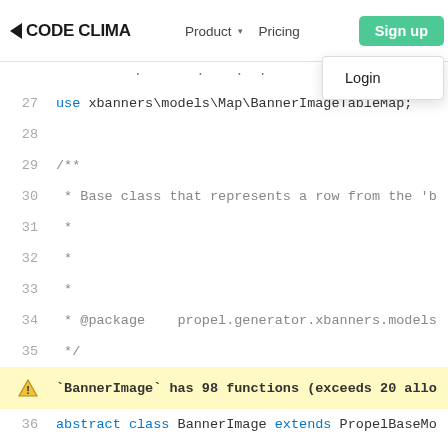CODE CLIMATE | Product | Pricing | Sign up | Login | Developers
[Figure (screenshot): Code Climate website screenshot showing a PHP code viewer with line numbers 27-40, a warning banner indicating BannerImage has 98 functions (exceeds 20 allowed), a navigation bar with Sign up button and Login dropdown, and Developers link.]